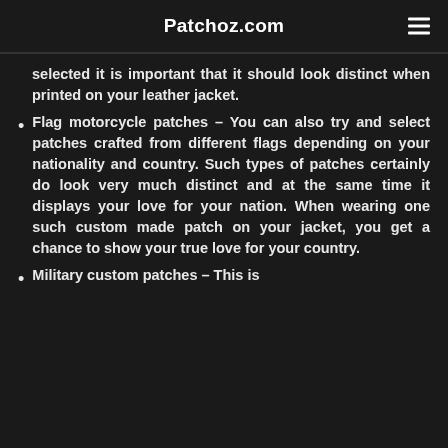Patchoz.com
selected it is important that it should look distinct when printed on your leather jacket.
Flag motorcycle patches – You can also try and select patches crafted from different flags depending on your nationality and country. Such types of patches certainly do look very much distinct and at the same time it displays your love for your nation. When wearing one such custom made patch on your jacket, you get a chance to show your true love for your country.
Military custom patches – This is